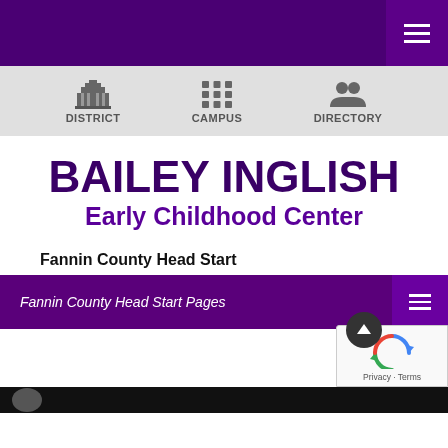[Figure (screenshot): Purple top navigation bar with hamburger menu icon on right]
[Figure (screenshot): Gray navigation bar with District, Campus, Directory icons]
BAILEY INGLISH
Early Childhood Center
Fannin County Head Start
[Figure (screenshot): Purple bar with text Fannin County Head Start Pages and hamburger menu icon, with up arrow circle]
[Figure (screenshot): reCAPTCHA widget bottom right with Privacy - Terms text]
[Figure (screenshot): Black bar at bottom of page with partial logo visible]